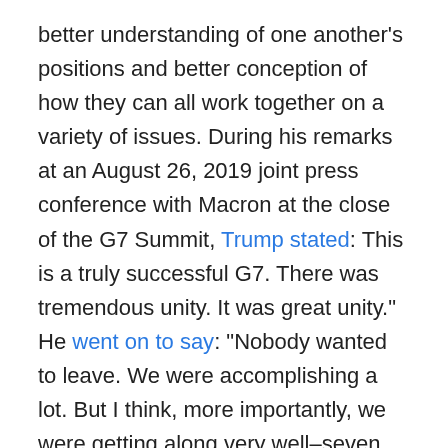better understanding of one another's positions and better conception of how they can all work together on a variety of issues. During his remarks at an August 26, 2019 joint press conference with Macron at the close of the G7 Summit, Trump stated: This is a truly successful G7. There was tremendous unity. It was great unity." He went on to say: “Nobody wanted to leave. We were accomplishing a lot. But I think, more importantly, we were getting along very well–seven countries. And it really was the G7.”
Within reason, one could attempt to substantiate that misguided supposition propagated by many in the US news media that the G7 would by a disaster by noting that the agendas of foreign governments are usually single-minded. Coming almost naturally to them as politicians, foreign leaders meeting with Trump would certainly want to end the agendas of their meetings favorably?